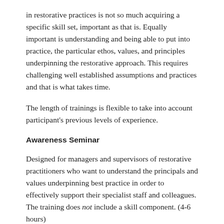in restorative practices is not so much acquiring a specific skill set, important as that is. Equally important is understanding and being able to put into practice, the particular ethos, values, and principles underpinning the restorative approach. This requires challenging well established assumptions and practices and that is what takes time.
The length of trainings is flexible to take into account participant's previous levels of experience.
Awareness Seminar
Designed for managers and supervisors of restorative practitioners who want to understand the principals and values underpinning best practice in order to effectively support their specialist staff and colleagues. The training does not include a skill component. (4-6 hours)